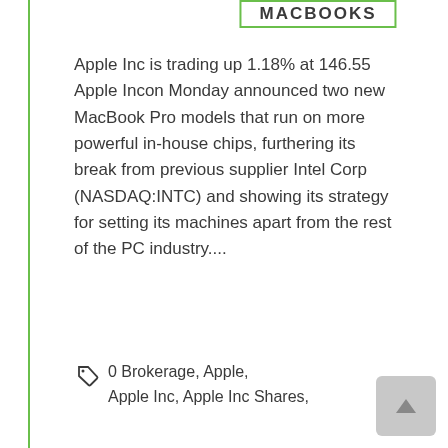MACBOOKS
Apple Inc is trading up 1.18% at 146.55 Apple Incon Monday announced two new MacBook Pro models that run on more powerful in-house chips, furthering its break from previous supplier Intel Corp (NASDAQ:INTC) and showing its strategy for setting its machines apart from the rest of the PC industry....
0 Brokerage, Apple, Apple Inc, Apple Inc Shares,